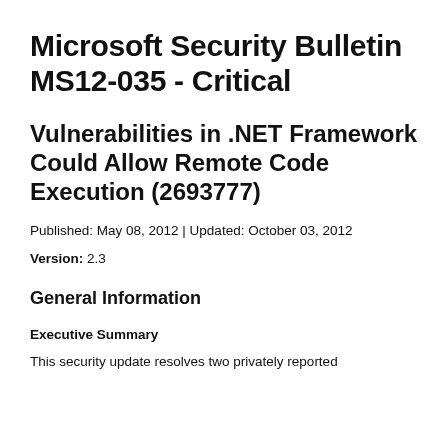Microsoft Security Bulletin MS12-035 - Critical
Vulnerabilities in .NET Framework Could Allow Remote Code Execution (2693777)
Published: May 08, 2012 | Updated: October 03, 2012
Version: 2.3
General Information
Executive Summary
This security update resolves two privately reported